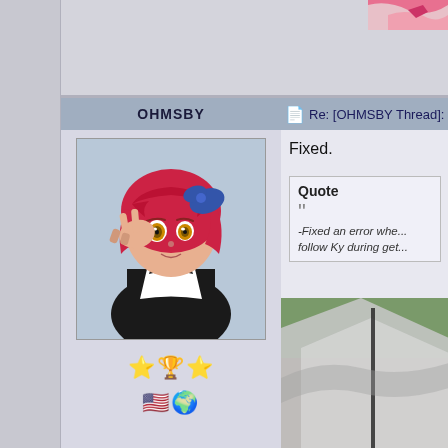[Figure (screenshot): Top strip of forum page with partial image in top right corner]
OHMSBY
Re: [OHMSBY Thread]: K
[Figure (illustration): Anime character with red hair wearing maid outfit, making peace sign]
⭐🏆⭐
🇺🇸🌍
Fixed.
Quote
-Fixed an error whe... follow Ky during get...
[Figure (photo): Partial photo in bottom right, appears to show outdoors scene]